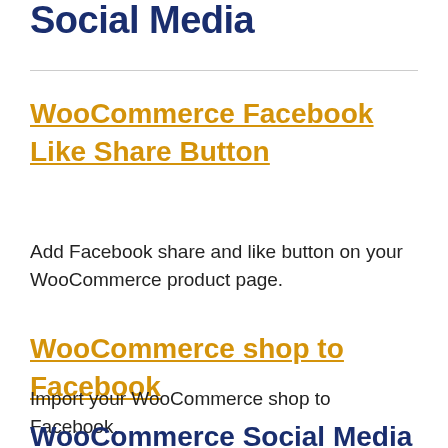Social Media
WooCommerce Facebook Like Share Button
Add Facebook share and like button on your WooCommerce product page.
WooCommerce shop to Facebook
Import your WooCommerce shop to Facebook.
WooCommerce Social Media